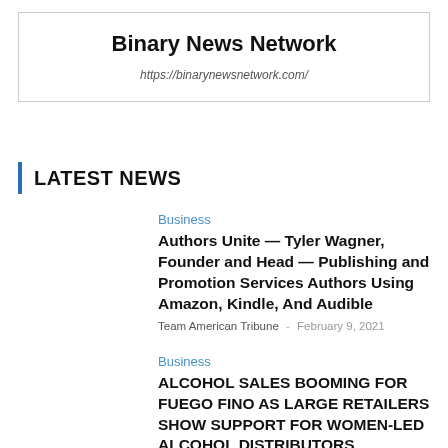Binary News Network
https://binarynewsnetwork.com/
LATEST NEWS
Business
Authors Unite — Tyler Wagner, Founder and Head — Publishing and Promotion Services Authors Using Amazon, Kindle, And Audible
Team American Tribune - February 9, 2021
Business
ALCOHOL SALES BOOMING FOR FUEGO FINO AS LARGE RETAILERS SHOW SUPPORT FOR WOMEN-LED ALCOHOL DISTRIBUTORS